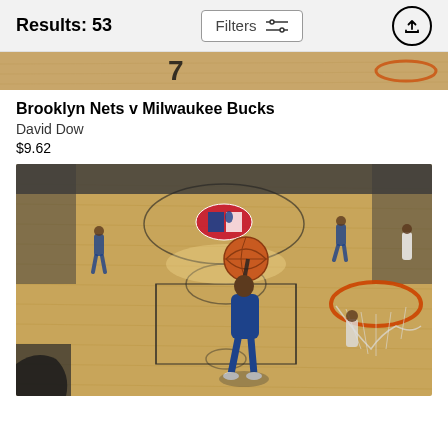Results: 53
[Figure (screenshot): Filters button with sliders icon and upload/share arrow button in circle]
[Figure (photo): Partial basketball court photo strip at top - wooden floor visible]
Brooklyn Nets v Milwaukee Bucks
David Dow
$9.62
[Figure (photo): Basketball player in blue uniform dunking/laying up ball toward orange hoop, aerial view of NBA court with logo visible, other players in background]